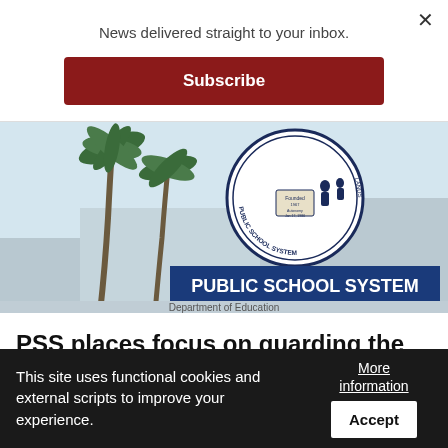News delivered straight to your inbox.
Subscribe
[Figure (photo): Photo of a Public School System sign with a circular logo/seal, palm trees visible on the left side, blue sky background.]
PSS places focus on guarding the mental health of educators, staff
Education Commissioner Dr. Alfred Ada said the Public School
This site uses functional cookies and external scripts to improve your experience.
More information
Accept